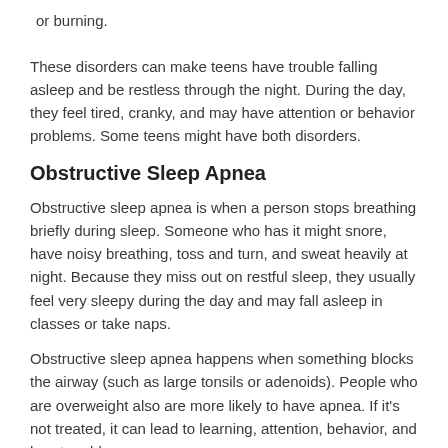or burning.
These disorders can make teens have trouble falling asleep and be restless through the night. During the day, they feel tired, cranky, and may have attention or behavior problems. Some teens might have both disorders.
Obstructive Sleep Apnea
Obstructive sleep apnea is when a person stops breathing briefly during sleep. Someone who has it might snore, have noisy breathing, toss and turn, and sweat heavily at night. Because they miss out on restful sleep, they usually feel very sleepy during the day and may fall asleep in classes or take naps.
Obstructive sleep apnea happens when something blocks the airway (such as large tonsils or adenoids). People who are overweight also are more likely to have apnea. If it's not treated, it can lead to learning, attention, behavior, and heart problems.
Nightmares
Most teens have nightmares once in a while. Nightmares can wake